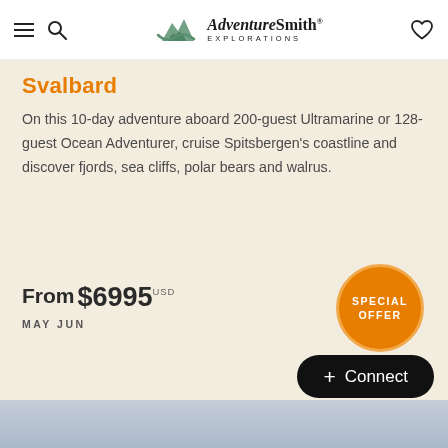[Figure (logo): AdventureSmith Explorations logo with mountain/wave icon and italic/serif wordmark]
Svalbard
On this 10-day adventure aboard 200-guest Ultramarine or 128-guest Ocean Adventurer, cruise Spitsbergen's coastline and discover fjords, sea cliffs, polar bears and walrus.
From $6995 USD
MAY JUN
[Figure (infographic): Orange circular badge with text SPECIAL OFFER]
+ Connect